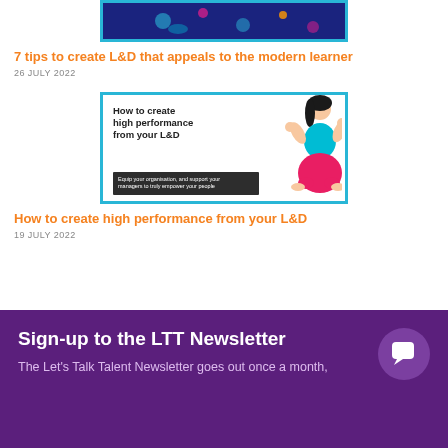[Figure (illustration): Thumbnail image for article about L&D and modern learner — blue/teal background with fish shapes, shown partially at top]
7 tips to create L&D that appeals to the modern learner
26 JULY 2022
[Figure (illustration): Thumbnail image showing 'How to create high performance from your L&D' with illustrated woman in yoga pose and dark subtitle bar reading 'Equip your organisation, and support your managers to truly empower your people']
How to create high performance from your L&D
19 JULY 2022
Sign-up to the LTT Newsletter
The Let's Talk Talent Newsletter goes out once a month,